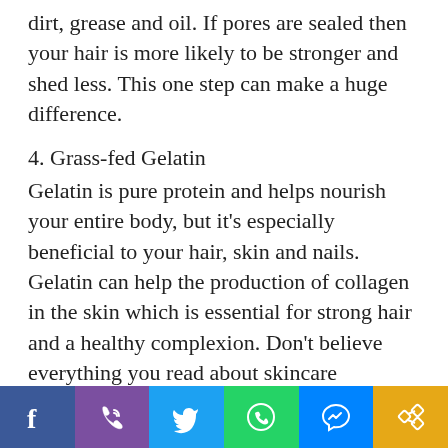dirt, grease and oil. If pores are sealed then your hair is more likely to be stronger and shed less. This one step can make a huge difference.
4. Grass-fed Gelatin
Gelatin is pure protein and helps nourish your entire body, but it's especially beneficial to your hair, skin and nails. Gelatin can help the production of collagen in the skin which is essential for strong hair and a healthy complexion. Don't believe everything you read about skincare containing collagen – you need to boost collagen from the inside as well as the outside! It'll also help improve
[Figure (infographic): Social media sharing bar with icons: Facebook, Phone/Viber, Twitter, WhatsApp, Messenger, Share]